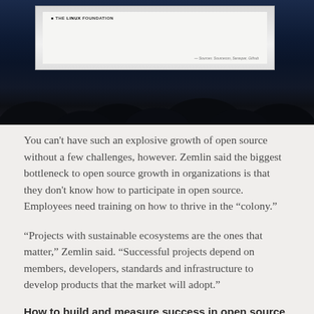[Figure (photo): Photograph of a presentation screen at a conference showing The Linux Foundation logo, with audience silhouettes visible in the foreground against a dark blue background.]
You can't have such an explosive growth of open source without a few challenges, however. Zemlin said the biggest bottleneck to open source growth in organizations is that they don't know how to participate in open source. Employees need training on how to thrive in the “colony.”
“Projects with sustainable ecosystems are the ones that matter,” Zemlin said. “Successful projects depend on members, developers, standards and infrastructure to develop products that the market will adopt.”
How to build and measure success in open source
After establishing the what—organizations must be involved and contributing to open source in order for the project to be successful—Zemlin answered the how by introducing the